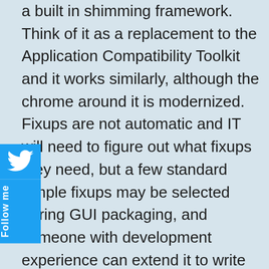a built in shimming framework. Think of it as a replacement to the Application Compatibility Toolkit and it works similarly, although the chrome around it is modernized. Fixups are not automatic and IT will need to figure out what fixups they need, but a few standard simple fixups may be selected during GUI packaging, and someone with development experience can extend it to write more comprehensive fixups (without access to the original source code).

It will take some time for Microsoft to build up these capabilities, and we will see it come